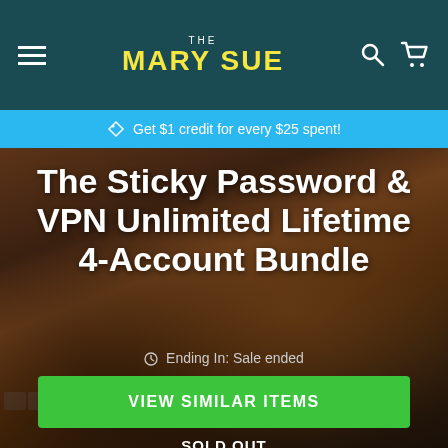THE MARY SUE
Get $1 credit for every $25 spent!
The Sticky Password & VPN Unlimited Lifetime 4-Account Bundle
Ending In: Sale ended
VIEW SIMILAR ITEMS
SOLD OUT
Add To Waitlist